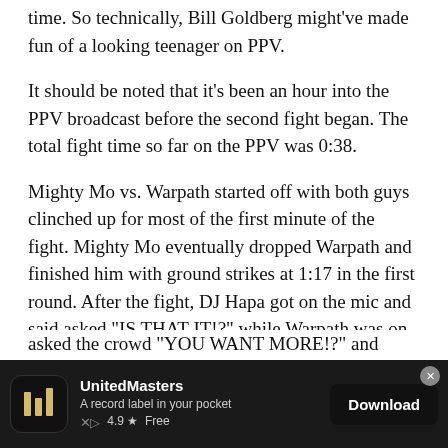time. So technically, Bill Goldberg might've made fun of a looking teenager on PPV.
It should be noted that it's been an hour into the PPV broadcast before the second fight began. The total fight time so far on the PPV was 0:38.
Mighty Mo vs. Warpath started off with both guys clinched up for most of the first minute of the fight. Mighty Mo eventually dropped Warpath and finished him with ground strikes at 1:17 in the first round. After the fight, DJ Hapa got on the mic and said asked "IS THAT IT!?" while Warpath was on the mat being checked on by ringside doctors for a possible broken orbital bone. DJ Hapa then asked the crowd "YOU WANT MORE!?" and stated
[Figure (screenshot): UnitedMasters app advertisement banner at bottom of page. Shows app icon with vertical bars logo, title 'UnitedMasters', subtitle 'A record label in your pocket', rating '4.9 ★ Free', and a Download button.]